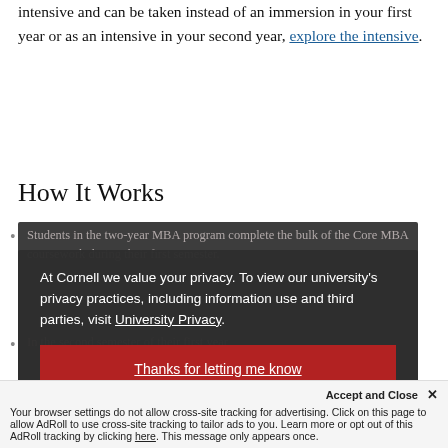intensive and can be taken instead of an immersion in your first year or as an intensive in your second year, explore the intensive.
How It Works
Students in the two-year MBA program complete the bulk of the Core MBA coursework during their first semester.
In the second semester of their first year, students...
At Cornell we value your privacy. To view our university's privacy practices, including information use and third parties, visit University Privacy.
Thanks for letting me know
Accept and Close ✕
Your browser settings do not allow cross-site tracking for advertising. Click on this page to allow AdRoll to use cross-site tracking to tailor ads to you. Learn more or opt out of this AdRoll tracking by clicking here. This message only appears once.